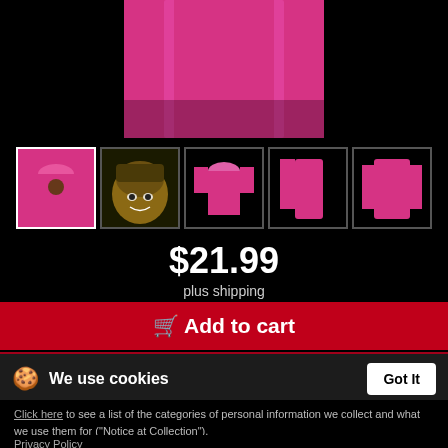[Figure (photo): Pink t-shirt product image shown from an angle, close-up partial view of the shirt body on a black background]
[Figure (photo): Row of 5 product thumbnail images: pink t-shirt with graphic (active/selected), illustrated character face graphic, plain pink t-shirt front, pink long-sleeve side view, pink long-sleeve back view]
$21.99
plus shipping
Add to cart
We use cookies
Got It
Click here to see a list of the categories of personal information we collect and what we use them for ("Notice at Collection").
Privacy Policy
Do Not Sell My Personal Information
By using this website, I agree to the Terms and Conditions